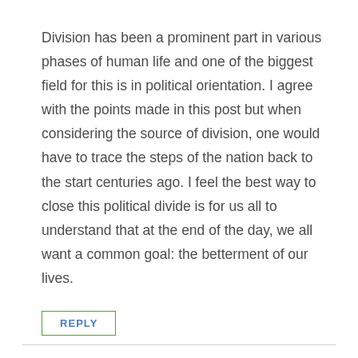Division has been a prominent part in various phases of human life and one of the biggest field for this is in political orientation. I agree with the points made in this post but when considering the source of division, one would have to trace the steps of the nation back to the start centuries ago. I feel the best way to close this political divide is for us all to understand that at the end of the day, we all want a common goal: the betterment of our lives.
REPLY